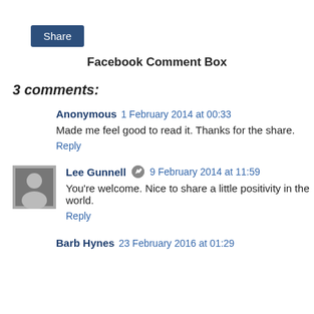[Figure (screenshot): Share button - dark blue rectangular button with white text 'Share']
Facebook Comment Box
3 comments:
Anonymous  1 February 2014 at 00:33
Made me feel good to read it. Thanks for the share.
Reply
Lee Gunnell  9 February 2014 at 11:59
You're welcome. Nice to share a little positivity in the world.
Reply
Barb Hynes  23 February 2016 at 01:29